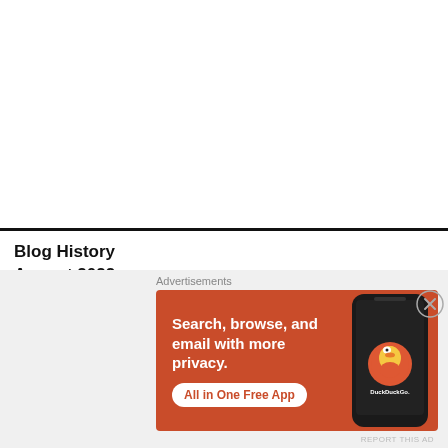Blog History
August 2022
M  T  W  T  F  S  S
[Figure (screenshot): DuckDuckGo advertisement banner with orange background. Text: 'Search, browse, and email with more privacy. All in One Free App'. Shows a phone with DuckDuckGo logo.]